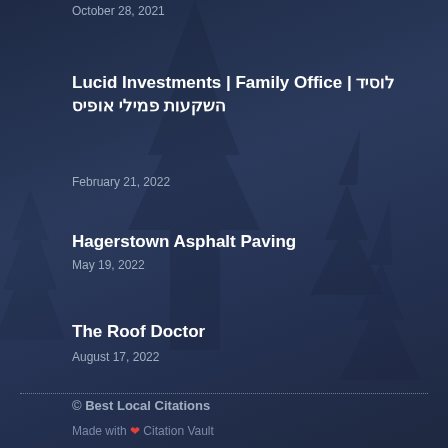October 28, 2021
Lucid Investments | Family Office | לוסיד השקעות פמילי אופיס
February 21, 2022
Hagerstown Asphalt Paving
May 19, 2022
The Roof Doctor
August 17, 2022
© Best Local Citations
Made with ❤ Citation Vault